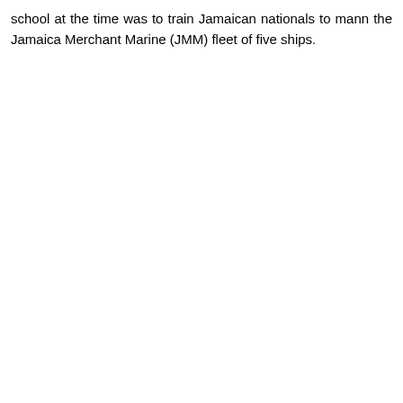school at the time was to train Jamaican nationals to mann the Jamaica Merchant Marine (JMM) fleet of five ships.